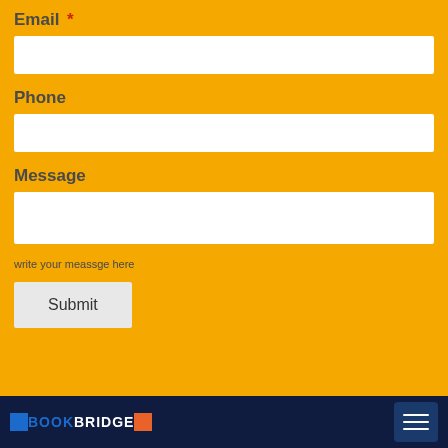Email *
[Figure (other): Email input text field (white rectangle)]
Phone
[Figure (other): Phone input text field (white rectangle)]
Message
[Figure (other): Message textarea input (white rectangle)]
write your meassge here
Submit
BOOKBRIDGE